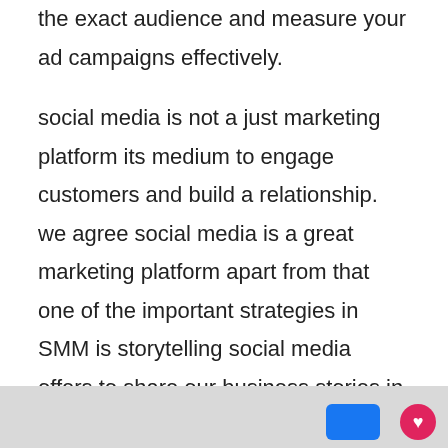the exact audience and measure your ad campaigns effectively.
social media is not a just marketing platform its medium to engage customers and build a relationship. we agree social media is a great marketing platform apart from that one of the important strategies in SMM is storytelling social media offers to share our business stories in engagement way and its best way to reconnect with your customers and also you can build authority with help of social media marketing.
[Figure (photo): Bottom strip of an image partially visible, showing a blue button and a red heart/like icon on a light grey background.]